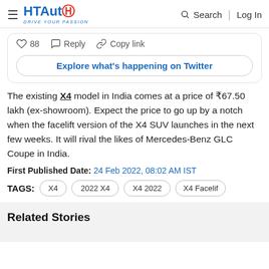HT Auto | Drive Your Passion | Search | Log In
[Figure (screenshot): Twitter embed widget showing 88 likes, Reply, Copy link actions and an Explore what's happening on Twitter button]
The existing X4 model in India comes at a price of ₹67.50 lakh (ex-showroom). Expect the price to go up by a notch when the facelift version of the X4 SUV launches in the next few weeks. It will rival the likes of Mercedes-Benz GLC Coupe in India.
First Published Date: 24 Feb 2022, 08:02 AM IST
TAGS: X4  2022 X4  X4 2022  X4 Facelif
Related Stories